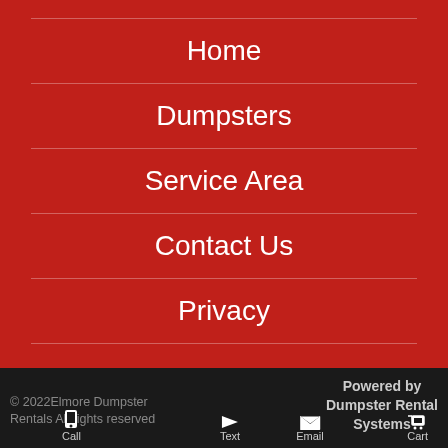Home
Dumpsters
Service Area
Contact Us
Privacy
© 2022Elmore Dumpster Rentals All rights reserved
Powered by Dumpster Rental Systems
Call  Text  Email  Cart